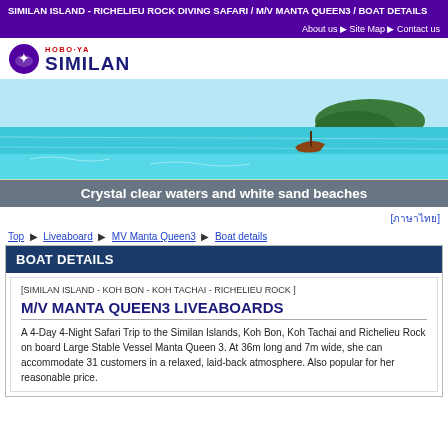SIMILAN ISLAND - RICHELIEU ROCK DIVING SAFARI / M/V MANTA QUEEN3 / BOAT DETAILS
About us ▶ Site Map ▶ Contact us
[Figure (logo): Hobo-Ya Similan logo with diver icon]
[Figure (photo): Crystal clear turquoise water, white sand beach, wooden boat, tropical island in background]
Crystal clear waters and white sand beaches
[ภาษาไทย]
Top ▶ Liveaboard ▶ MV Manta Queen3 ▶ Boat details
BOAT DETAILS
[SIMILAN ISLAND - KOH BON - KOH TACHAI - RICHELIEU ROCK ]
M/V MANTA QUEEN3 LIVEABOARDS
A 4-Day 4-Night Safari Trip to the Similan Islands, Koh Bon, Koh Tachai and Richelieu Rock on board Large Stable Vessel Manta Queen 3. At 36m long and 7m wide, she can accommodate 31 customers in a relaxed, laid-back atmosphere. Also popular for her reasonable price.